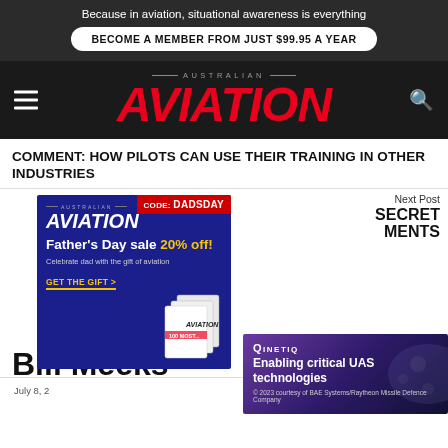Because in aviation, situational awareness is everything
BECOME A MEMBER FROM JUST $99.95 A YEAR
[Figure (logo): Australian Aviation magazine logo — red italic AVIATION text with AUSTRALIAN above]
COMMENT: HOW PILOTS CAN USE THEIR TRAINING IN OTHER INDUSTRIES
Next Post SECRET MOMENTS
[Figure (screenshot): Australian Aviation Father's Day sale advertisement — dark blue background, CODE: DADSDAY badge, AVIATION logo, Father's Day sale 20% off!, Celebrate dad with the gift of aviation, GET THE GIFT >, magazine images]
Bill Meeks
July 8, 2
[Figure (screenshot): QinetiQ advertisement — purple gradient background, QinetiQ logo, Enabling critical UAS technologies, drone imagery]